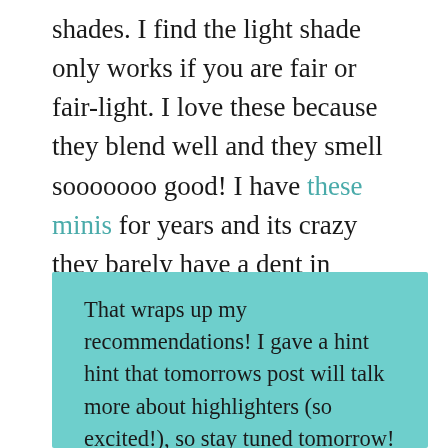shades. I find the light shade only works if you are fair or fair-light. I love these because they blend well and they smell sooooooo good! I have these minis for years and its crazy they barely have a dent in them. Great for travel and can double as eyeshadow.
That wraps up my recommendations! I gave a hint hint that tomorrows post will talk more about highlighters (so excited!), so stay tuned tomorrow! For updates when I post follow my blog via WP account or email and my IG @thekaiserkaren!